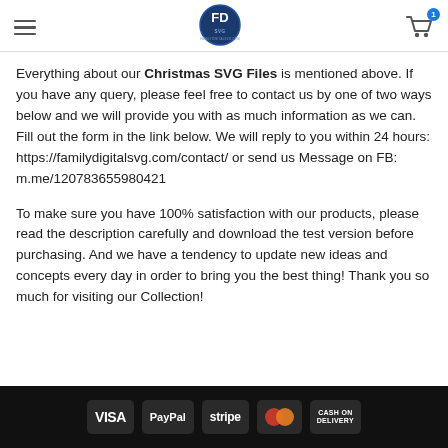Family Digital SVG logo, hamburger menu, shopping cart with badge 1
Everything about our Christmas SVG Files is mentioned above. If you have any query, please feel free to contact us by one of two ways below and we will provide you with as much information as we can. Fill out the form in the link below. We will reply to you within 24 hours: https://familydigitalsvg.com/contact/ or send us Message on FB: m.me/120783655980421
To make sure you have 100% satisfaction with our products, please read the description carefully and download the test version before purchasing. And we have a tendency to update new ideas and concepts every day in order to bring you the best thing! Thank you so much for visiting our Collection!
VISA PayPal stripe MasterCard CASH ON DELIVERY